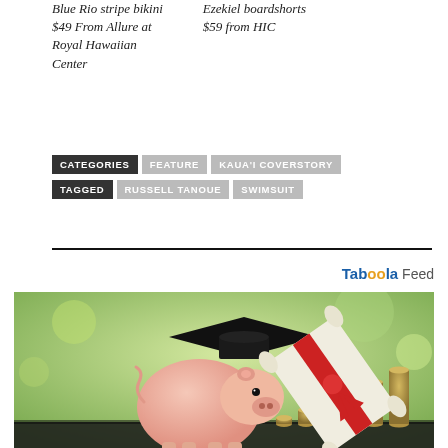Blue Rio stripe bikini $49 From Allure at Royal Hawaiian Center
Ezekiel boardshorts $59 from HIC
CATEGORIES  FEATURE  KAUA'I COVERSTORY  TAGGED  RUSSELL TANOUE  SWIMSUIT
[Figure (photo): Photo of a pink piggy bank wearing a graduation cap with red tassel, leaning against a rolled diploma tied with red ribbon, with stacks of coins in the foreground, on a blurred green background. Taboola Feed advertisement.]